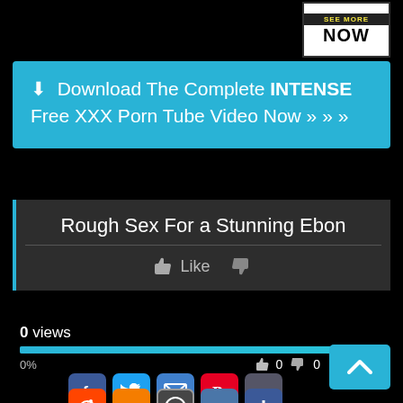[Figure (screenshot): Advertisement box with 'SEE MORE NOW' text in white and yellow on dark background]
⬇ Download The Complete INTENSE Free XXX Porn Tube Video Now » » »
Rough Sex For a Stunning Ebon
👍 Like  👎
0 views
0%
[Figure (screenshot): Social media share buttons: Facebook, Twitter, Email, Pinterest, Tumblr, Reddit, Blogger, WordPress, VK, Plus. Scroll-to-top blue button with chevron.]